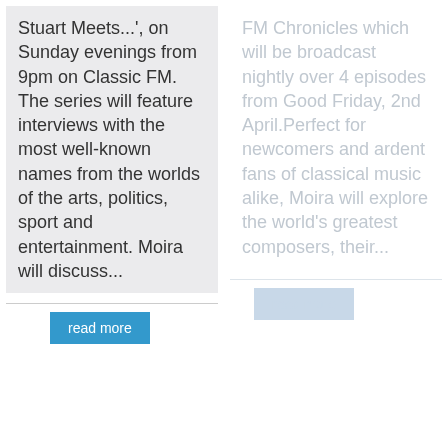Stuart Meets...', on Sunday evenings from 9pm on Classic FM. The series will feature interviews with the most well-known names from the worlds of the arts, politics, sport and entertainment. Moira will discuss...
read more
FM Chronicles which will be broadcast nightly over 4 episodes from Good Friday, 2nd April.Perfect for newcomers and ardent fans of classical music alike, Moira will explore the world's greatest composers, their...
read more